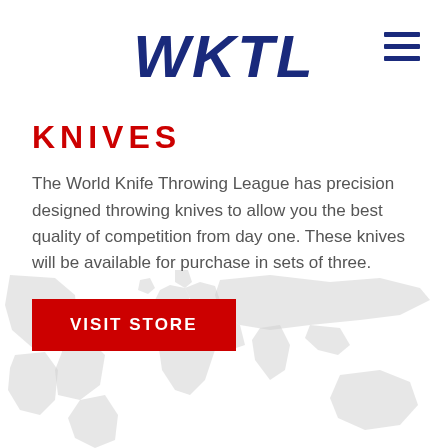WKTL
KNIVES
The World Knife Throwing League has precision designed throwing knives to allow you the best quality of competition from day one. These knives will be available for purchase in sets of three.
VISIT STORE
[Figure (illustration): Light gray watermark world map silhouette in the lower portion of the page]